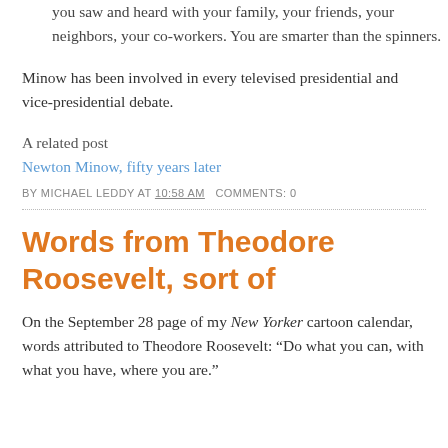you saw and heard with your family, your friends, your neighbors, your co-workers. You are smarter than the spinners.
Minow has been involved in every televised presidential and vice-presidential debate.
A related post
Newton Minow, fifty years later
BY MICHAEL LEDDY AT 10:58 AM   COMMENTS: 0
Words from Theodore Roosevelt, sort of
On the September 28 page of my New Yorker cartoon calendar, words attributed to Theodore Roosevelt: “Do what you can, with what you have, where you are.”